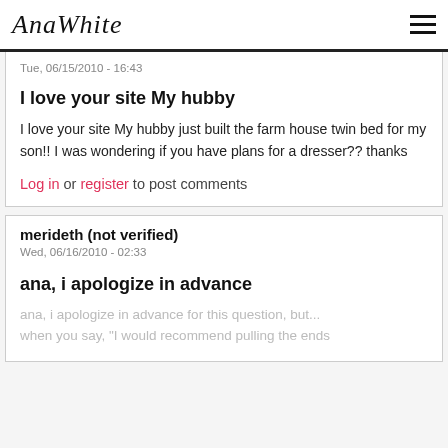AnaWhite
Tue, 06/15/2010 - 16:43
I love your site My hubby
I love your site My hubby just built the farm house twin bed for my son!! I was wondering if you have plans for a dresser?? thanks
Log in or register to post comments
merideth (not verified)
Wed, 06/16/2010 - 02:33
ana, i apologize in advance
ana, i apologize in advance for this question, but... when you say, "I would recommend pulling the ends